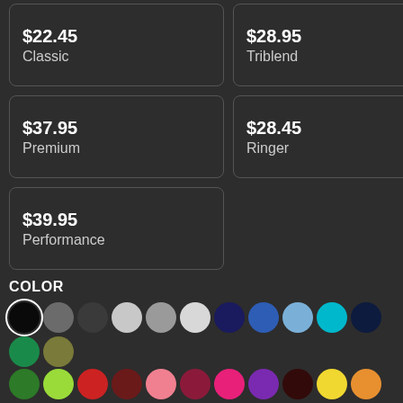| $22.45 | Classic | $28.95 | Triblend |
| $37.95 | Premium | $28.45 | Ringer |
| $39.95 | Performance |  |  |
COLOR
[Figure (other): Color swatches grid: black (selected), dark gray, charcoal, light gray, medium gray, light silver, navy, royal blue, light blue, cyan, dark navy, green, olive, forest green, lime green, red, dark red/maroon, pink, burgundy, magenta/hot pink, purple, dark brown, yellow, light orange, orange, bright orange]
S, M, L, XL, 2XL, 3XL size buttons
This pre-shrunk classic features zero side seams, and double-needle stitched throughout for extra durability and...